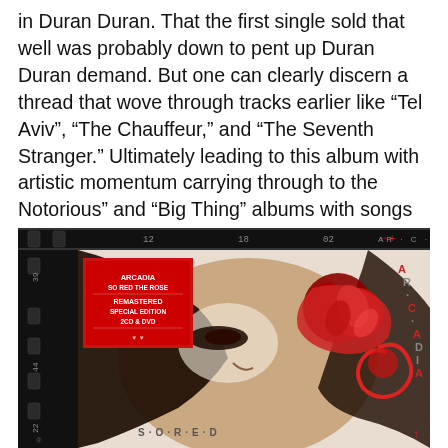in Duran Duran. That the first single sold that well was probably down to pent up Duran Duran demand. But one can clearly discern a thread that wove through tracks earlier like “Tel Aviv”, “The Chauffeur,” and “The Seventh Stranger.” Ultimately leading to this album with artistic momentum carrying through to the Notorious” and “Big Thing” albums with songs like “Winter Marches On” or “Land” all standing apart from the more obvious Duran Duran “rock disco” sound.
[Figure (photo): Album cover for Arcadia 'So Red the Rose' Remastered Special Edition 2CD & DVD, showing artistic illustration of a face with red floral/rose elements and the text AR.CA.DI.A around the edges, with a red label sticker in the top left corner.]